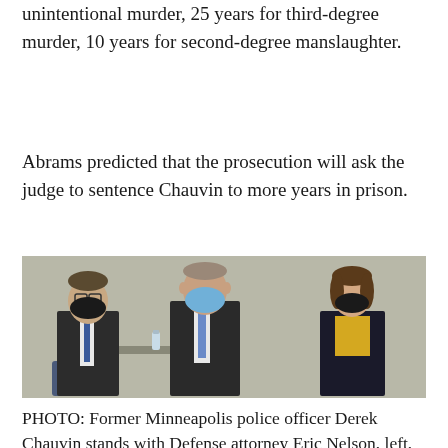unintentional murder, 25 years for third-degree murder, 10 years for second-degree manslaughter.
Abrams predicted that the prosecution will ask the judge to sentence Chauvin to more years in prison.
[Figure (photo): Three people standing in a courtroom wearing face masks. Center person (Derek Chauvin) in dark suit with blue tie. Left person (Eric Nelson) in dark suit with blue tie and glasses. Right person (woman) in dark blazer with yellow top.]
PHOTO: Former Minneapolis police officer Derek Chauvin stands with Defense attorney Eric Nelson, left,